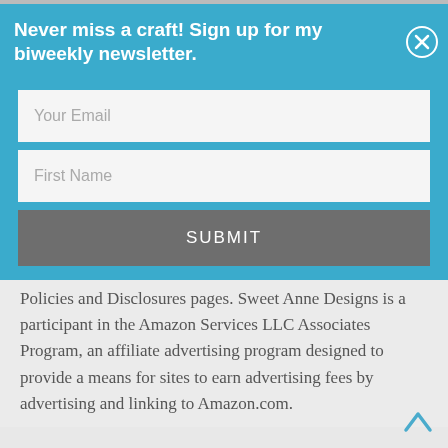Never miss a craft! Sign up for my biweekly newsletter.
Your Email
First Name
SUBMIT
Policies and Disclosures pages. Sweet Anne Designs is a participant in the Amazon Services LLC Associates Program, an affiliate advertising program designed to provide a means for sites to earn advertising fees by advertising and linking to Amazon.com.